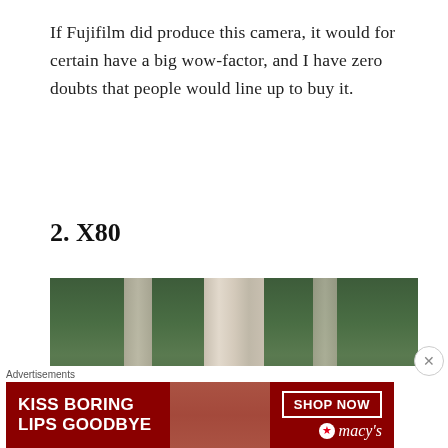If Fujifilm did produce this camera, it would for certain have a big wow-factor, and I have zero doubts that people would line up to buy it.
2. X80
[Figure (photo): A person partially hidden behind a wooden fence or gate, with green foliage in the background. The person's hand with rings is visible at the bottom left.]
Advertisements
[Figure (photo): Advertisement banner: KISS BORING LIPS GOODBYE with SHOP NOW button and Macy's star logo, featuring a woman's face with red lipstick on a dark red background.]